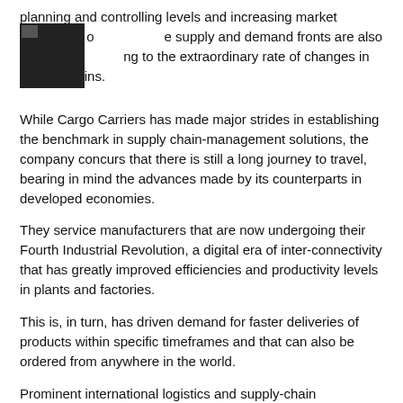planning and controlling levels and increasing market turbulence on the supply and demand fronts are also major contributing to the extraordinary rate of changes in supply chains.
While Cargo Carriers has made major strides in establishing the benchmark in supply chain-management solutions, the company concurs that there is still a long journey to travel, bearing in mind the advances made by its counterparts in developed economies.
They service manufacturers that are now undergoing their Fourth Industrial Revolution, a digital era of inter-connectivity that has greatly improved efficiencies and productivity levels in plants and factories.
This is, in turn, has driven demand for faster deliveries of products within specific timeframes and that can also be ordered from anywhere in the world.
Prominent international logistics and supply-chain management specialists are also expected to start investing in big data analysis tools to increase planning and control outcomes in a new wave of decentralised automated network technologies.
Meanwhile, the trials on drones and autonomous vehicles point to the future of logistics and supply-chain management in these